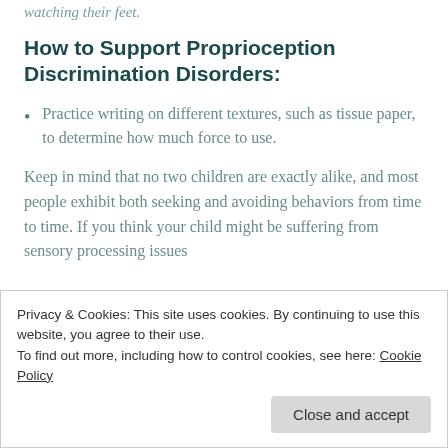watching their feet.
How to Support Proprioception Discrimination Disorders:
Practice writing on different textures, such as tissue paper, to determine how much force to use.
Keep in mind that no two children are exactly alike, and most people exhibit both seeking and avoiding behaviors from time to time. If you think your child might be suffering from sensory processing issues
Privacy & Cookies: This site uses cookies. By continuing to use this website, you agree to their use.
To find out more, including how to control cookies, see here: Cookie Policy
Close and accept